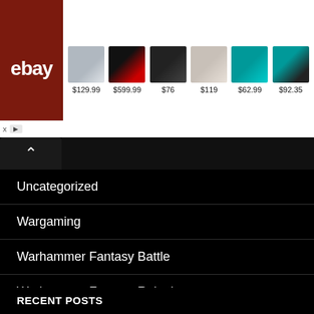[Figure (screenshot): eBay advertisement banner showing laptop, gaming laptop, speaker, earbuds, reciprocating saw, and drill with prices $129.99, $599.99, $76, $119, $62.99, $92.35]
Uncategorized
Wargaming
Warhammer Fantasy Battle
Warhammer Fantasy Roleplay
Weird and Wonderful
World Building
Writing Tips
RECENT POSTS